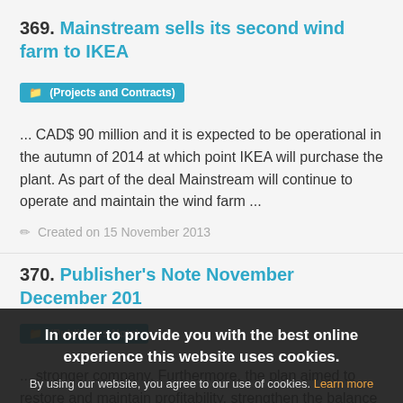369. Mainstream sells its second wind farm to IKEA
(Projects and Contracts)
... CAD$ 90 million and it is expected to be operational in the autumn of 2014 at which point IKEA will purchase the plant. As part of the deal Mainstream will continue to operate and maintain the wind farm ...
Created on 15 November 2013
370. Publisher's Note November December 201
(Publishers Note)
... stronger company. Furthermore, the plan aimed to restore and maintain profitability, strengthen the balance sheet (reduce debt), focus on key markets and growth businesses,
In order to provide you with the best online experience this website uses cookies.
By using our website, you agree to our use of cookies. Learn more